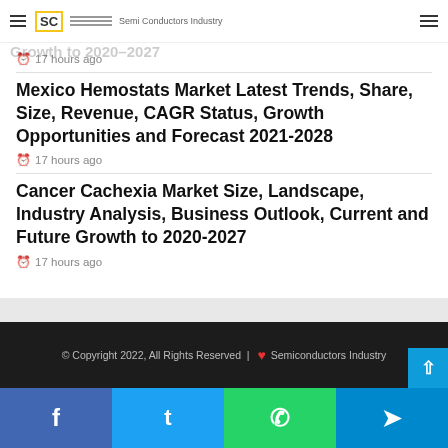SC Semi Conductors Industry
Dermatology Drugs Market Size, Landscape, Industry Analysis, Business Outlook, Current and Future Growth to 2020-2027
17 hours ago
Mexico Hemostats Market Latest Trends, Share, Size, Revenue, CAGR Status, Growth Opportunities and Forecast 2021-2028
17 hours ago
Cancer Cachexia Market Size, Landscape, Industry Analysis, Business Outlook, Current and Future Growth to 2020-2027
17 hours ago
© Copyright 2022, All Rights Reserved | ❤ Semiconductors Industry